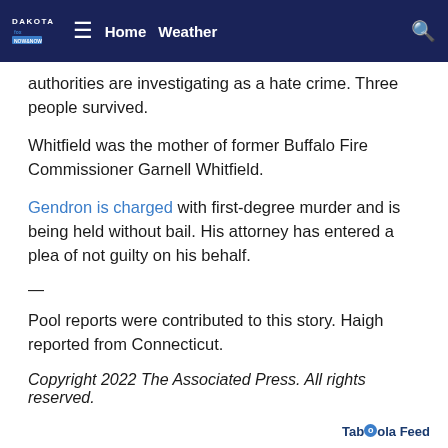Dakota Fox News Now — Home  Weather
authorities are investigating as a hate crime. Three people survived.
Whitfield was the mother of former Buffalo Fire Commissioner Garnell Whitfield.
Gendron is charged with first-degree murder and is being held without bail. His attorney has entered a plea of not guilty on his behalf.
—
Pool reports were contributed to this story. Haigh reported from Connecticut.
Copyright 2022 The Associated Press. All rights reserved.
Taboola Feed